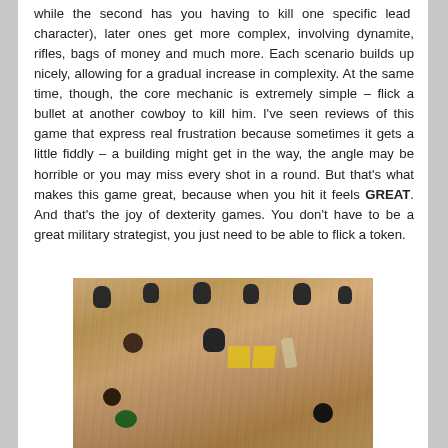while the second has you having to kill one specific lead character), later ones get more complex, involving dynamite, rifles, bags of money and much more. Each scenario builds up nicely, allowing for a gradual increase in complexity. At the same time, though, the core mechanic is extremely simple – flick a bullet at another cowboy to kill him. I've seen reviews of this game that express real frustration because sometimes it gets a little fiddly – a building might get in the way, the angle may be horrible or you may miss every shot in a round. But that's what makes this game great, because when you hit it feels GREAT. And that's the joy of dexterity games. You don't have to be a great military strategist, you just need to be able to flick a token.
[Figure (photo): Photo of a board game in progress on a wooden table surface, showing dark meeple figures, yellow wooden blocks, and other game pieces scattered across the board.]